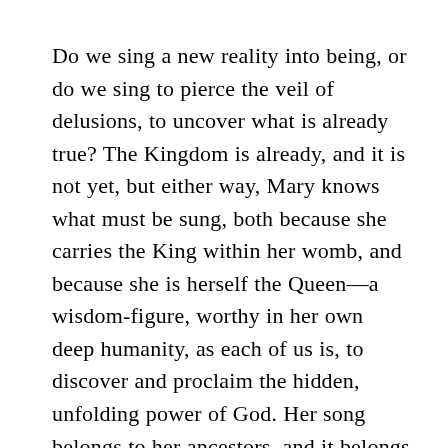Do we sing a new reality into being, or do we sing to pierce the veil of delusions, to uncover what is already true? The Kingdom is already, and it is not yet, but either way, Mary knows what must be sung, both because she carries the King within her womb, and because she is herself the Queen—a wisdom-figure, worthy in her own deep humanity, as each of us is, to discover and proclaim the hidden, unfolding power of God. Her song belongs to her ancestors, and it belongs to the child she will nurture. It belongs to all of us. It is ancient, and it is new. It is forever.
And thanks be to God for that, because we need hope-songs now, just as desperately as Mary did then. We need to be reminded of the dream that